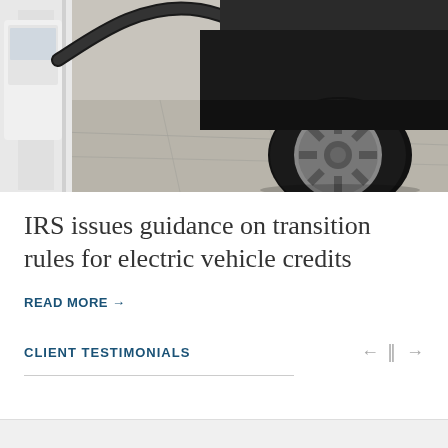[Figure (photo): Close-up photo of an electric vehicle charging station with a black charging cable curving down to the lower right, and the front wheel/tire of a dark car visible on a concrete surface.]
IRS issues guidance on transition rules for electric vehicle credits
READ MORE →
CLIENT TESTIMONIALS